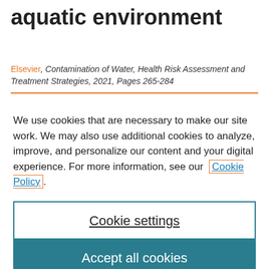aquatic environment
Elsevier, Contamination of Water, Health Risk Assessment and Treatment Strategies, 2021, Pages 265-284
We use cookies that are necessary to make our site work. We may also use additional cookies to analyze, improve, and personalize our content and your digital experience. For more information, see our Cookie Policy.
Cookie settings
Accept all cookies